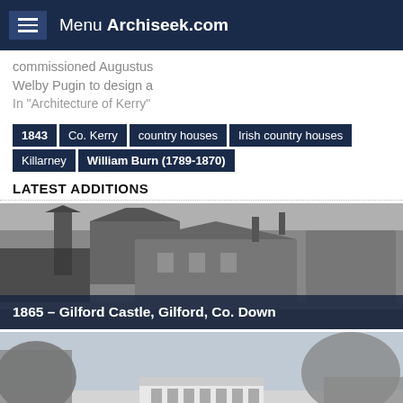Menu Archiseek.com
commissioned Augustus Welby Pugin to design a
In "Architecture of Kerry"
1843
Co. Kerry
country houses
Irish country houses
Killarney
William Burn (1789-1870)
LATEST ADDITIONS
[Figure (photo): Black and white photograph of Gilford Castle, a Gothic-style stone castle with turrets and chimneys, surrounded by bare trees]
1865 – Gilford Castle, Gilford, Co. Down
[Figure (photo): Black and white photograph of Castle Dillon, a Georgian-style mansion surrounded by parkland with mature trees]
1845 – Castle Dillon, Loughgall, Co. Armagh